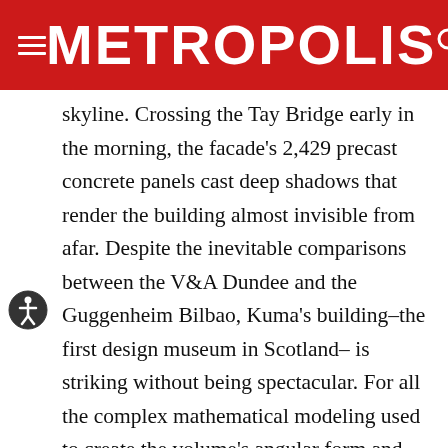METROPOLIS
skyline. Crossing the Tay Bridge early in the morning, the facade’s 2,429 precast concrete panels cast deep shadows that render the building almost invisible from afar. Despite the inevitable comparisons between the V&A Dundee and the Guggenheim Bilbao, Kuma’s building–the first design museum in Scotland– is striking without being spectacular. For all the complex mathematical modeling used to create the volume’s angular form and double-curved walls, it’s undeniably